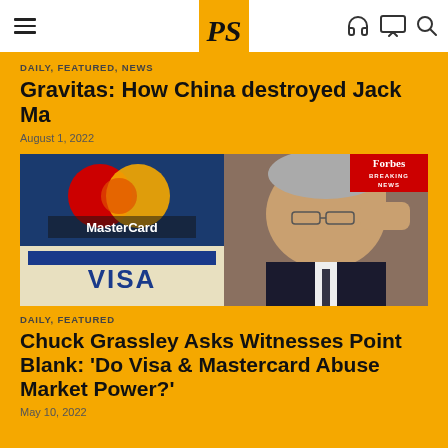PS logo, navigation menu, headphone icon, monitor icon, search icon
DAILY, FEATURED, NEWS
Gravitas: How China destroyed Jack Ma
August 1, 2022
[Figure (photo): Split image: MasterCard and Visa credit card logos on the left; Chuck Grassley gesturing at a hearing on the right with Forbes Breaking News banner]
DAILY, FEATURED
Chuck Grassley Asks Witnesses Point Blank: 'Do Visa & Mastercard Abuse Market Power?'
May 10, 2022